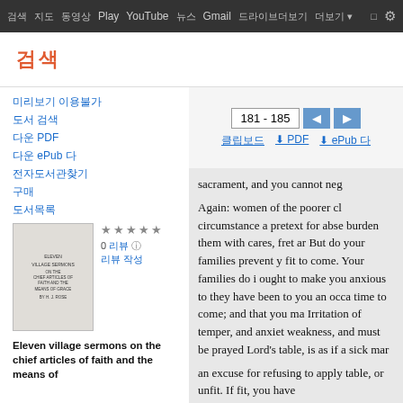Google Books navigation bar with links: Play, YouTube, Gmail, and settings
검색 (logo in orange/red)
181 - 185
PDF 다운로드, ePub 다운로드
sacrament, and you cannot neg... Again: women of the poorer cl... circumstance a pretext for abse... burden them with cares, fret ar... But do your families prevent y... fit to come. Your families do i... ought to make you anxious to ... they have been to you an occa... time to come; and that you ma... Irritation of temper, and anxiet weakness, and must be prayed ... Lord's table, is as if a sick mar... an excuse for refusing to apply... table, or unfit. If fit, you have ...
Eleven village sermons on the chief articles of faith and the means of